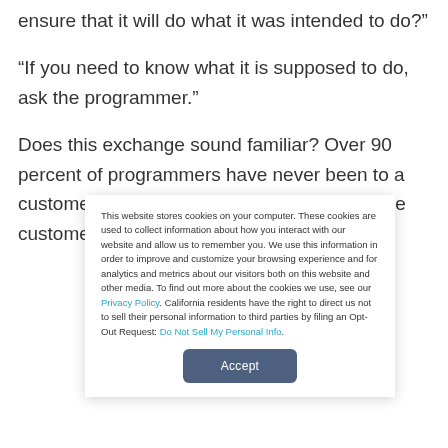ensure that it will do what it was intended to do?”
“If you need to know what it is supposed to do, ask the programmer.”
Does this exchange sound familiar? Over 90 percent of programmers have never been to a customer’s site or seen the program run in the customer’s environment. Yet they will
This website stores cookies on your computer. These cookies are used to collect information about how you interact with our website and allow us to remember you. We use this information in order to improve and customize your browsing experience and for analytics and metrics about our visitors both on this website and other media. To find out more about the cookies we use, see our Privacy Policy. California residents have the right to direct us not to sell their personal information to third parties by filing an Opt-Out Request: Do Not Sell My Personal Info.